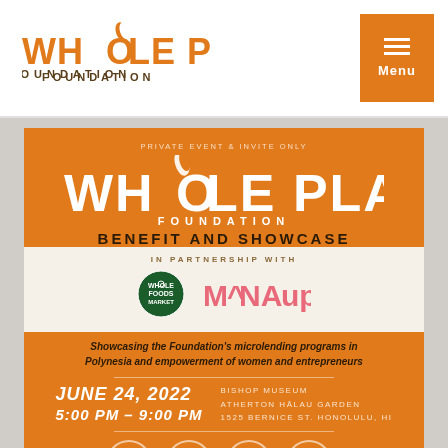[Figure (logo): Whole Planet Foundation logo in orange with leaf/globe icon above the O in Whole, with FOUNDATION text below]
[Figure (screenshot): Orange hamburger menu button with three horizontal lines and 'Menu' label]
PRIVATE EVENT & INVITE ONLY
WHOLE PLANET FOUNDATION BENEFIT AND SHOWCASE
IN PARTNERSHIP WITH
[Figure (logo): Whole Foods Market circular logo in green]
[Figure (logo): MANA UP logo in coral/pink stylized text]
Showcasing the Foundation's microlending programs in Polynesia and empowerment of women and entrepreneurs
JUNE 24, 2022 BISHOP MUSEUM ATHERTON HĀLAU GARDEN 1525 BERNICE ST. HONOLULU, HI
5:00 PM – 9:00 PM
[Figure (illustration): Four circular icon illustrations at the bottom of the orange event card]